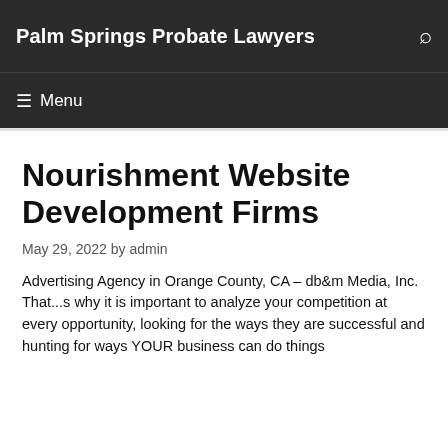Palm Springs Probate Lawyers
Nourishment Website Development Firms
May 29, 2022 by admin
Advertising Agency in Orange County, CA – db&m Media, Inc. That...s why it is important to analyze your competition at every opportunity, looking for the ways they are successful and hunting for ways YOUR business can do things